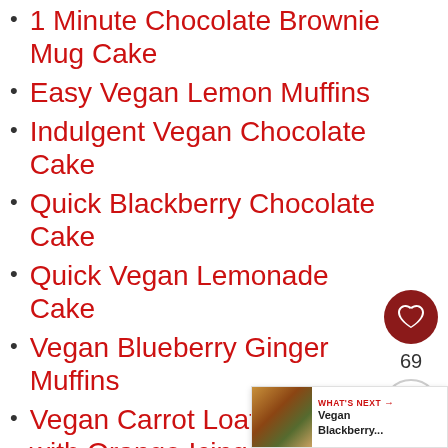1 Minute Chocolate Brownie Mug Cake
Easy Vegan Lemon Muffins
Indulgent Vegan Chocolate Cake
Quick Blackberry Chocolate Cake
Quick Vegan Lemonade Cake
Vegan Blueberry Ginger Muffins
Vegan Carrot Loaf Cake with Orange Icing
Vegan Carrot Cake
Vegan Chocolate Cake
[Figure (infographic): Heart/like button (dark red circle with white heart icon), count '69', and share button (circle with share icon)]
[Figure (infographic): What's Next banner with food photo thumbnail and text 'WHAT'S NEXT → Vegan Blackberry...']